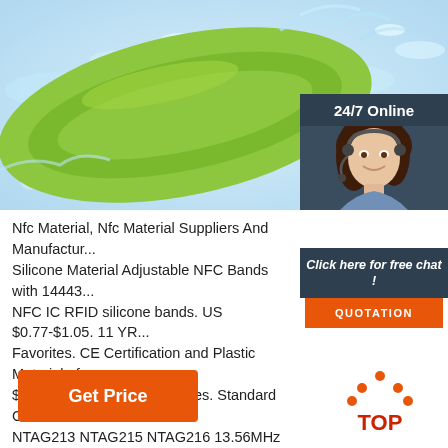[Figure (photo): Green RFID silicone wristband with water splashes and '((RFID))' text, with a 24/7 Online customer service panel on the right showing a woman wearing a headset]
Nfc Material, Nfc Material Suppliers And Manufacturers... Silicone Material Adjustable NFC Bands with 14443... NFC IC RFID silicone bands. US $0.77-$1.05. 11 YR... Favorites. CE Certification and Plastic Material nfc n... $0.15. 11 YR. Add to Favorites. Standard CR80 PVC... NTAG213 NTAG215 NTAG216 13.56MHz RFID Blank Card.
[Figure (other): Orange 'Get Price' button]
[Figure (other): TOP arrow icon in orange dots with red text]